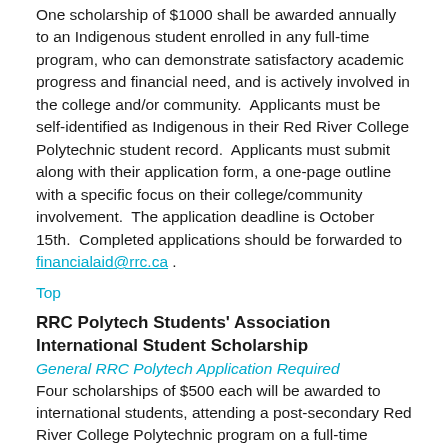One scholarship of $1000 shall be awarded annually to an Indigenous student enrolled in any full-time program, who can demonstrate satisfactory academic progress and financial need, and is actively involved in the college and/or community.  Applicants must be self-identified as Indigenous in their Red River College Polytechnic student record.  Applicants must submit along with their application form, a one-page outline with a specific focus on their college/community involvement.  The application deadline is October 15th.  Completed applications should be forwarded to financialaid@rrc.ca .
Top
RRC Polytech Students' Association International Student Scholarship
General RRC Polytech Application Required
Four scholarships of $500 each will be awarded to international students, attending a post-secondary Red River College Polytechnic program on a full-time basis. The scholarships will be presented to the students who attain the highest GPA after their first term; applicants must have achieved a minimum 4.25 GPA after first term.  A first term